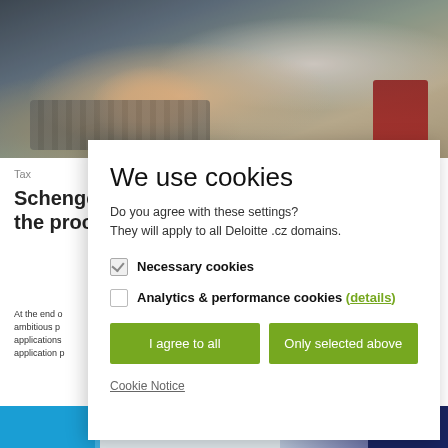[Figure (photo): Person typing on a laptop keyboard with a passport visible on the desk, wearing a watch and business attire]
Tax
Schenge the proc
At the end o ambitious p applications application p
We use cookies
Do you agree with these settings?
They will apply to all Deloitte .cz domains.
Necessary cookies
Analytics & performance cookies (details)
I agree to all
Only selected above
Cookie Notice
[Figure (screenshot): Bottom strip showing partial website interface with blue and grey tones]